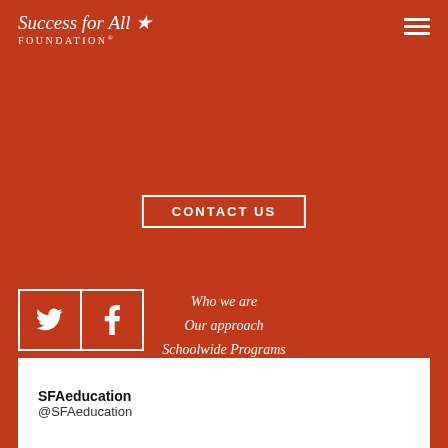[Figure (logo): Success for All Foundation logo with star, white text on red background]
CONTACT US
Who we are
Our approach
Schoolwide Programs
Targeted Programs
Results
How you can help
Resources
Get started
Donate
[Figure (illustration): Twitter and Facebook social media icons in white outlined boxes]
SFAeducation @SFAeducation